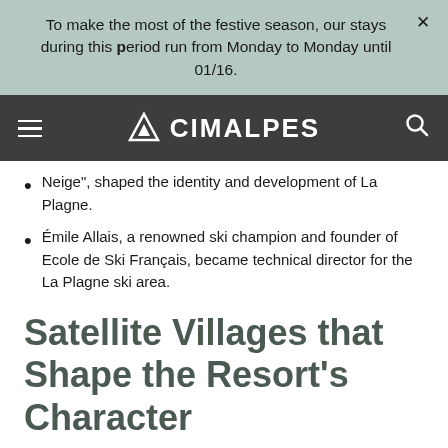To make the most of the festive season, our stays during this period run from Monday to Monday until 01/16.
CIMALPES
Neige", shaped the identity and development of La Plagne.
Émile Allais, a renowned ski champion and founder of Ecole de Ski Français, became technical director for the La Plagne ski area.
Satellite Villages that Shape the Resort's Character
La Plagne has certainly kept an eye on the bigger picture throughout its development. The 'original' resort of Plagne